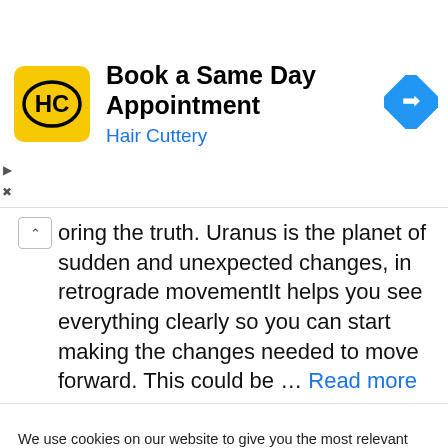[Figure (other): Hair Cuttery advertisement banner: yellow logo with HC initials, text 'Book a Same Day Appointment' and 'Hair Cuttery' in blue, blue diamond navigation icon on right]
oring the truth. Uranus is the planet of sudden and unexpected changes, in retrograde movementIt helps you see everything clearly so you can start making the changes needed to move forward. This could be ... Read more
We use cookies on our website to give you the most relevant experience by remembering your preferences and repeat visits. By clicking “Accept All”, you consent to the use of ALL the cookies. However, you may visit "Cookie Settings" to provide a controlled consent.